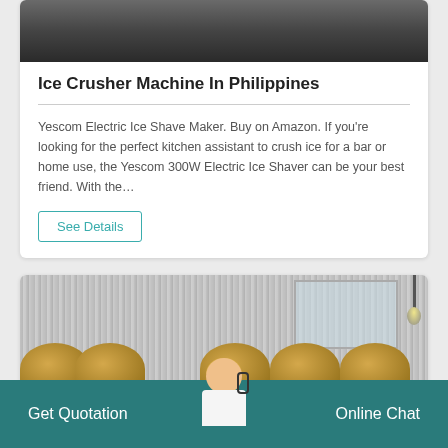[Figure (photo): Top portion of ice crusher machine product image, dark background]
Ice Crusher Machine In Philippines
Yescom Electric Ice Shave Maker. Buy on Amazon. If you're looking for the perfect kitchen assistant to crush ice for a bar or home use, the Yescom 300W Electric Ice Shaver can be your best friend. With the…
See Details
[Figure (photo): Industrial facility interior with corrugated metal walls and large golden drum/barrel equipment on floor]
Get Quotation    Online Chat